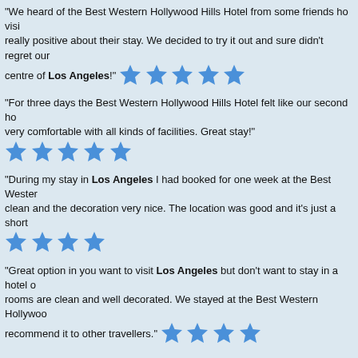"We heard of the Best Western Hollywood Hills Hotel from some friends ho visit really positive about their stay. We decided to try it out and sure didn't regret our centre of Los Angeles!" ★★★★★
"For three days the Best Western Hollywood Hills Hotel felt like our second ho very comfortable with all kinds of facilities. Great stay!" ★★★★★
"During my stay in Los Angeles I had booked for one week at the Best Wester clean and the decoration very nice. The location was good and it's just a short ★★★★
"Great option in you want to visit Los Angeles but don't want to stay in a hotel o rooms are clean and well decorated. We stayed at the Best Western Hollywoo recommend it to other travellers." ★★★★
"The Best Western Hollywood Hills Hotel is great if you're looking for a hotel in can easily walk to all the attractions and the friendly staff will provide you with ★★★★
"I loved the Best Western Hollywood Hills Hotel for its central position. From the attraction which was great and made everything really easy for us!" ★★★
"I went to Los Angeles on a business trip where I stayed at the Best Western stayed in a nice room with good facilities." ★★★★
"I loved the Best Western Hollywood Hills Hotel for its central position. From th